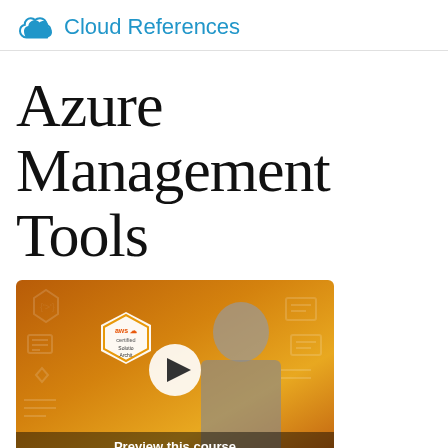Cloud References
Azure Management Tools
[Figure (screenshot): Video thumbnail for AWS Certified Solutions Architect course on an orange gradient background, showing a person with an AWS certified badge and a play button overlay. Text reads 'Preview this course'.]
Ultimate AWS Certified